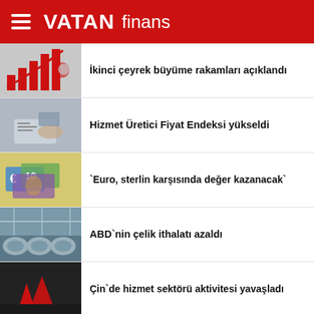VATAN finans
İkinci çeyrek büyüme rakamları açıklandı
Hizmet Üretici Fiyat Endeksi yükseldi
`Euro, sterlin karşısında değer kazanacak`
ABD`nin çelik ithalatı azaldı
Çin`de hizmet sektörü aktivitesi yavaşladı